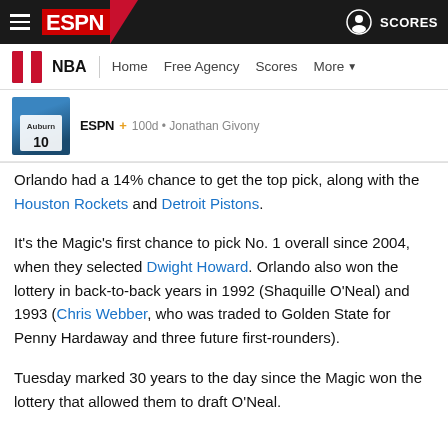ESPN — NBA | Home | Free Agency | Scores | More
[Figure (screenshot): Article thumbnail showing basketball player wearing #10 Auburn jersey]
ESPN+ 100d • Jonathan Givony
Orlando had a 14% chance to get the top pick, along with the Houston Rockets and Detroit Pistons.
It's the Magic's first chance to pick No. 1 overall since 2004, when they selected Dwight Howard. Orlando also won the lottery in back-to-back years in 1992 (Shaquille O'Neal) and 1993 (Chris Webber, who was traded to Golden State for Penny Hardaway and three future first-rounders).
Tuesday marked 30 years to the day since the Magic won the lottery that allowed them to draft O'Neal.